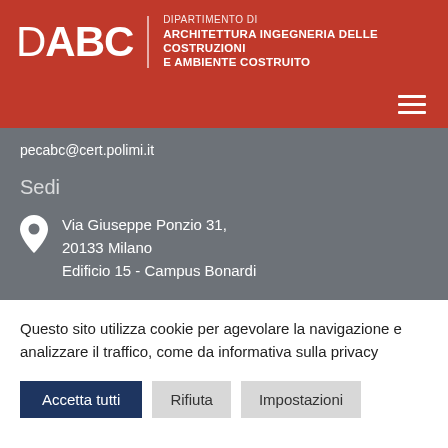[Figure (logo): DABC logo with text: DIPARTIMENTO DI ARCHITETTURA INGEGNERIA DELLE COSTRUZIONI E AMBIENTE COSTRUITO]
pecabc@cert.polimi.it
Sedi
Via Giuseppe Ponzio 31, 20133 Milano Edificio 15 - Campus Bonardi
Questo sito utilizza cookie per agevolare la navigazione e analizzare il traffico, come da informativa sulla privacy
Accetta tutti   Rifiuta   Impostazioni